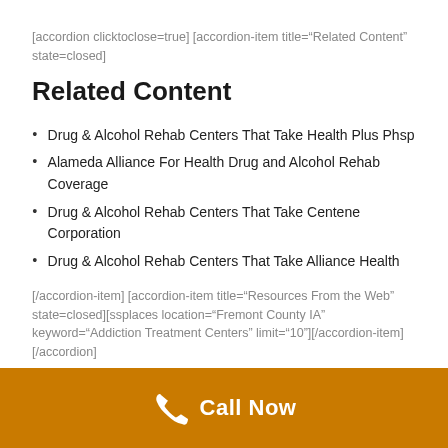[accordion clicktoclose=true] [accordion-item title="Related Content" state=closed]
Related Content
Drug & Alcohol Rehab Centers That Take Health Plus Phsp
Alameda Alliance For Health Drug and Alcohol Rehab Coverage
Drug & Alcohol Rehab Centers That Take Centene Corporation
Drug & Alcohol Rehab Centers That Take Alliance Health
[/accordion-item] [accordion-item title="Resources From the Web" state=closed][ssplaces location="Fremont County IA" keyword="Addiction Treatment Centers" limit="10"][/accordion-item] [/accordion]
Call Now